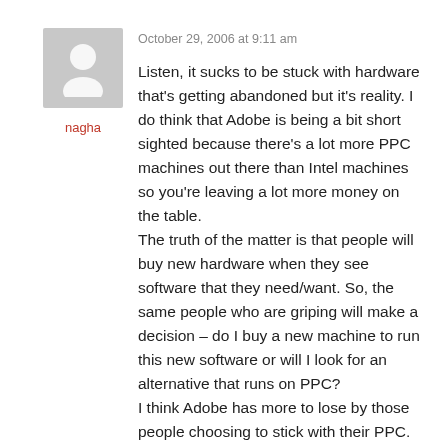[Figure (illustration): Grey avatar placeholder silhouette of a person]
nagha
October 29, 2006 at 9:11 am
Listen, it sucks to be stuck with hardware that's getting abandoned but it's reality. I do think that Adobe is being a bit short sighted because there's a lot more PPC machines out there than Intel machines so you're leaving a lot more money on the table. The truth of the matter is that people will buy new hardware when they see software that they need/want. So, the same people who are griping will make a decision – do I buy a new machine to run this new software or will I look for an alternative that runs on PPC? I think Adobe has more to lose by those people choosing to stick with their PPC.